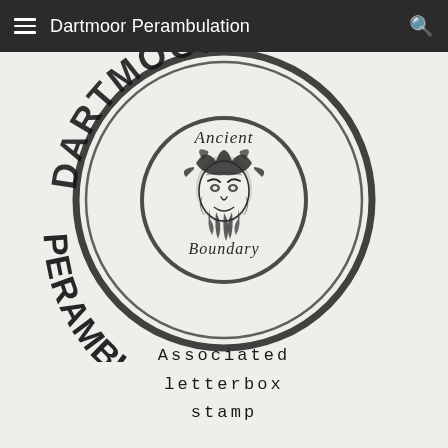Dartmoor Perambulation
[Figure (illustration): A circular rubber stamp impression for Dartmoor Perambulation. The outer ring reads 'DARTMOOR' at the top and 'PERAMBULATION' along the bottom in large block letters. An inner circle contains the text 'Ancient' at the top and 'Boundary' at the bottom, with a central illustration of a bearded face (possibly a Green Man or ancient figure) wearing a leafy crown.]
Associated letterbox stamp